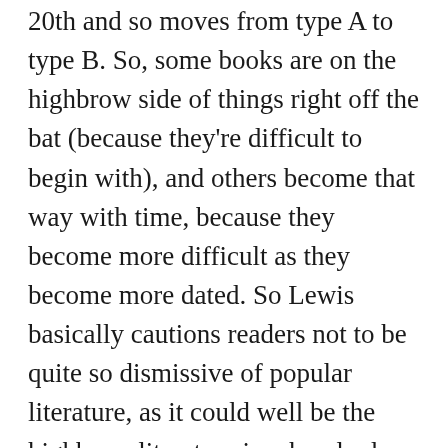20th and so moves from type A to type B. So, some books are on the highbrow side of things right off the bat (because they're difficult to begin with), and others become that way with time, because they become more difficult as they become more dated. So Lewis basically cautions readers not to be quite so dismissive of popular literature, as it could well be the highbrow literature in a hundred years.
I'm assuming not many people saw . . . or agreed with . . . or maybe were willing to admit . . . his premise from this essay.  But what is really interesting to me is that Lewis obviously